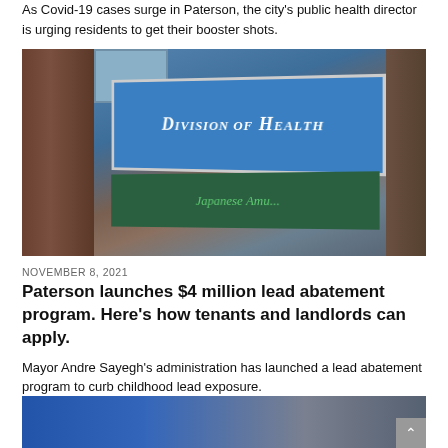As Covid-19 cases surge in Paterson, the city's public health director is urging residents to get their booster shots.
[Figure (photo): Photo of Paterson Division of Health building sign on brick wall, showing a blue sign reading 'Division of Health' and a green directory sign below]
NOVEMBER 8, 2021
Paterson launches $4 million lead abatement program. Here's how tenants and landlords can apply.
Mayor Andre Sayegh's administration has launched a lead abatement program to curb childhood lead exposure.
[Figure (photo): Partially visible photo at bottom of page, appears to show people outdoors]